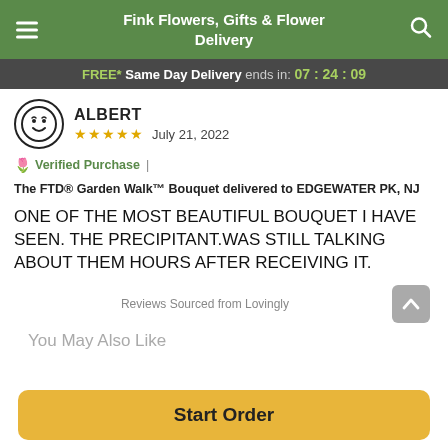Fink Flowers, Gifts & Flower Delivery
FREE* Same Day Delivery ends in: 07:24:09
ALBERT
★★★★★ July 21, 2022
🌷 Verified Purchase | The FTD® Garden Walk™ Bouquet delivered to EDGEWATER PK, NJ
ONE OF THE MOST BEAUTIFUL BOUQUET I HAVE SEEN. THE PRECIPITANT.WAS STILL TALKING ABOUT THEM HOURS AFTER RECEIVING IT.
Reviews Sourced from Lovingly
You May Also Like
Start Order